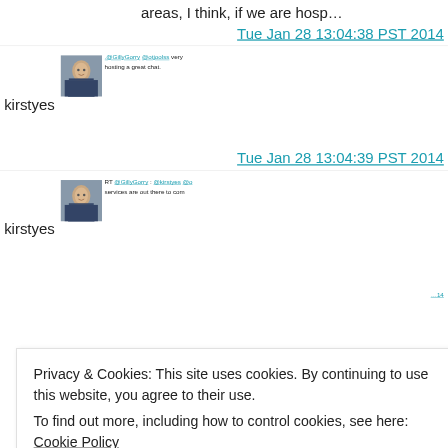areas, I think, if we are hosp…
Tue Jan 28 13:04:38 PST 2014
[Figure (photo): Profile photo of kirstyes user on Twitter/social platform]
kirstyes
.@GillyGorry @otjoolss very hosting a great chat.
Tue Jan 28 13:04:39 PST 2014
[Figure (photo): Profile photo of kirstyes user on Twitter/social platform]
kirstyes
RT @GillyGorry: @kirstyes @o services are out there to com
Privacy & Cookies: This site uses cookies. By continuing to use this website, you agree to their use. To find out more, including how to control cookies, see here: Cookie Policy
Close and accept
highlighting these areas, I th